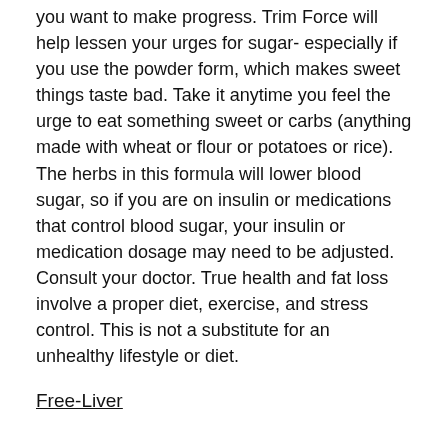you want to make progress. Trim Force will help lessen your urges for sugar- especially if you use the powder form, which makes sweet things taste bad. Take it anytime you feel the urge to eat something sweet or carbs (anything made with wheat or flour or potatoes or rice). The herbs in this formula will lower blood sugar, so if you are on insulin or medications that control blood sugar, your insulin or medication dosage may need to be adjusted. Consult your doctor. True health and fat loss involve a proper diet, exercise, and stress control. This is not a substitute for an unhealthy lifestyle or diet.
Free-Liver
The liver is key to helping the body get rid of fat. Take 1 tablespoon of Free-Liver with water on empty stomach. (It can be taken with Trim Force too.) The bitter taste is part of what helps clean the liver. It helps to take an extra 1-2 spoonfuls of Free-Liver with water sometime during the day on an empty stomach. Do not take it with